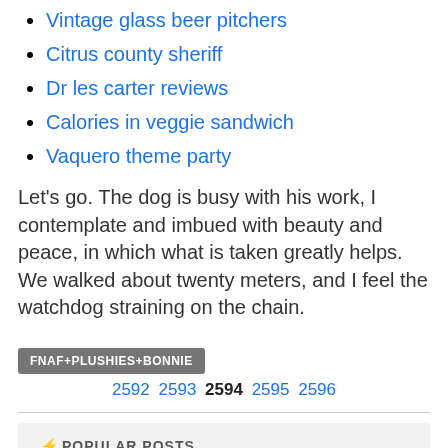Vintage glass beer pitchers
Citrus county sheriff
Dr les carter reviews
Calories in veggie sandwich
Vaquero theme party
Let's go. The dog is busy with his work, I contemplate and imbued with beauty and peace, in which what is taken greatly helps. We walked about twenty meters, and I feel the watchdog straining on the chain.
FNAF+PLUSHIES+BONNIE
2592 2593 2594 2595 2596
⚡POPULAR POSTS